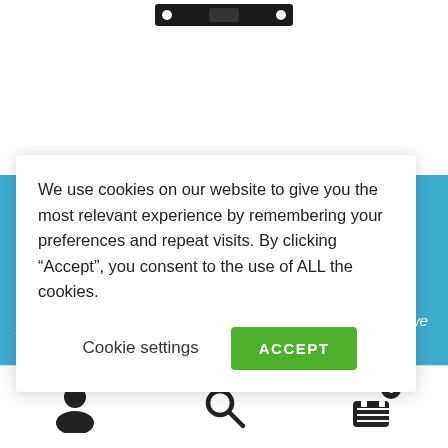[Figure (screenshot): Black metal bracket or rack-mount hardware partially visible at the top of the page]
please mention this in the order notes. Maybe, just maybe, we can bump your order up
Dismiss
We use cookies on our website to give you the most relevant experience by remembering your preferences and repeat visits. By clicking “Accept”, you consent to the use of ALL the cookies.
Cookie settings
ACCEPT
[Figure (other): Bottom navigation bar with user account icon, search icon, and shopping cart icon with badge showing 0]